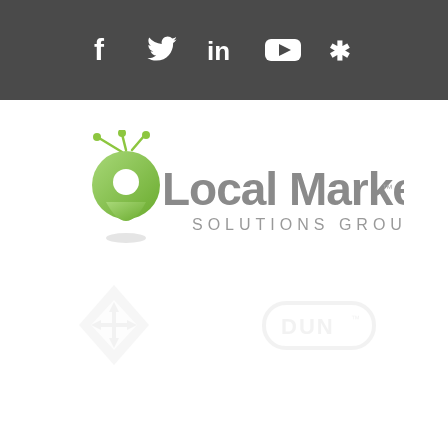[Figure (logo): Social media icons bar (Facebook, Twitter, LinkedIn, YouTube, Yelp) on dark gray background]
[Figure (logo): Local Marketing Solutions Group, Inc. logo with green map pin icon and gray text]
[Figure (logo): Two faded partner/certification logos below the main logo]